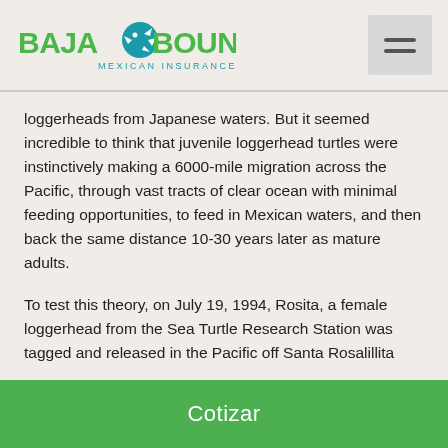Baja Bound Mexican Insurance
loggerheads from Japanese waters. But it seemed incredible to think that juvenile loggerhead turtles were instinctively making a 6000-mile migration across the Pacific, through vast tracts of clear ocean with minimal feeding opportunities, to feed in Mexican waters, and then back the same distance 10-30 years later as mature adults.
To test this theory, on July 19, 1994, Rosita, a female loggerhead from the Sea Turtle Research Station was tagged and released in the Pacific off Santa Rosalillita
Cotizar